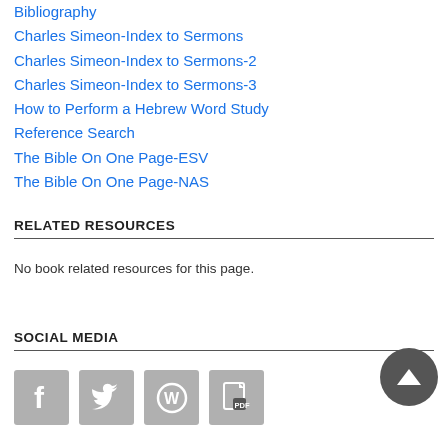Bibliography
Charles Simeon-Index to Sermons
Charles Simeon-Index to Sermons-2
Charles Simeon-Index to Sermons-3
How to Perform a Hebrew Word Study
Reference Search
The Bible On One Page-ESV
The Bible On One Page-NAS
RELATED RESOURCES
No book related resources for this page.
SOCIAL MEDIA
[Figure (infographic): Social media icons: Facebook, Twitter, WordPress, PDF]